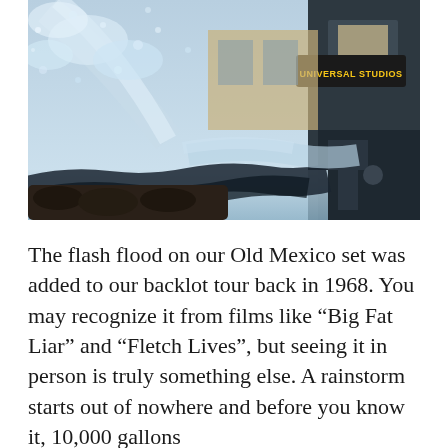[Figure (photo): A dramatic flash flood water effect at Universal Studios backlot, showing a large wave of water crashing and splashing with a Universal Studios sign visible in the background, along with studio buildings and equipment.]
The flash flood on our Old Mexico set was added to our backlot tour back in 1968. You may recognize it from films like “Big Fat Liar” and “Fletch Lives”, but seeing it in person is truly something else. A rainstorm starts out of nowhere and before you know it, 10,000 gallons